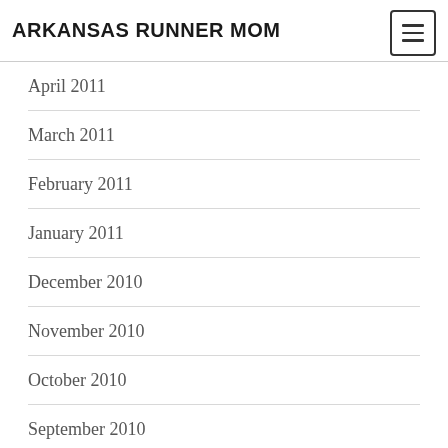ARKANSAS RUNNER MOM
April 2011
March 2011
February 2011
January 2011
December 2010
November 2010
October 2010
September 2010
August 2010
July 2010
June 2010